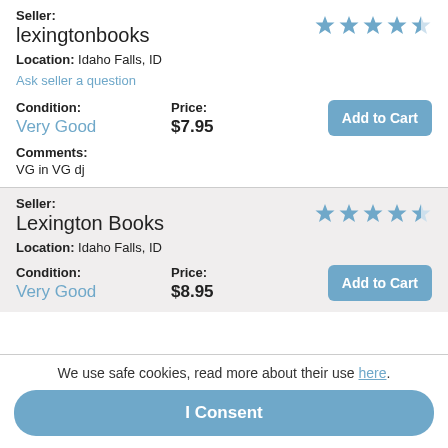Seller: lexingtonbooks — Location: Idaho Falls, ID — Ask seller a question — Condition: Very Good — Price: $7.95 — Add to Cart — Comments: VG in VG dj
Seller: Lexington Books — Location: Idaho Falls, ID — Condition: Very Good — Price: $8.95 — Add to Cart
We use safe cookies, read more about their use here.
I Consent